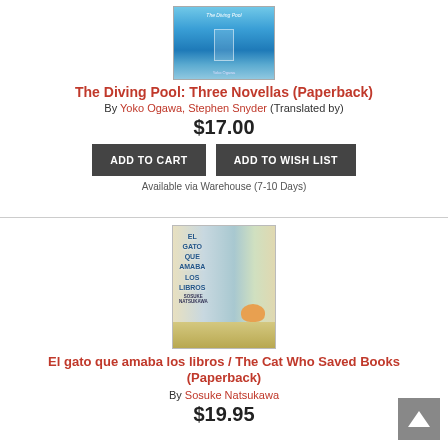[Figure (illustration): Book cover of The Diving Pool: Three Novellas, blue water background]
The Diving Pool: Three Novellas (Paperback)
By Yoko Ogawa, Stephen Snyder (Translated by)
$17.00
ADD TO CART
ADD TO WISH LIST
Available via Warehouse (7-10 Days)
[Figure (illustration): Book cover of El gato que amaba los libros / The Cat Who Saved Books]
El gato que amaba los libros / The Cat Who Saved Books (Paperback)
By Sosuke Natsukawa
$19.95